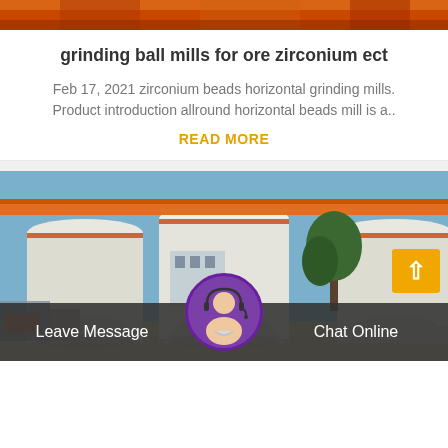[Figure (photo): Top portion of orange/red industrial mining or grinding equipment visible at top of page]
grinding ball mills for ore zirconium ect
Feb 17, 2021 zirconium beads horizontal grinding mills. Product introduction allround horizontal beads mill is a..
READ MORE
[Figure (photo): Industrial facility showing large white cylindrical grinding mill towers/columns at a manufacturing plant, with blue sky, orange overhead crane structure, and trees visible in background]
Leave Message   Chat Online